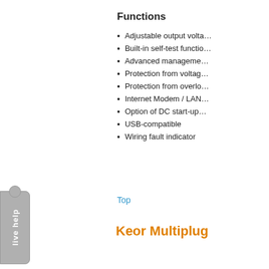[Figure (other): Live help button widget on the left side — a grey rounded-corner tab with a circle at top and 'live help' text rotated vertically]
Functions
Adjustable output volta…
Built-in self-test functio…
Advanced manageme…
Protection from voltag…
Protection from overlo…
Internet Modem / LAN…
Option of DC start-up…
USB-compatible
Wiring fault indicator
[Figure (other): Red arrow-shaped Download Brochure button]
Top
Keor Multiplug